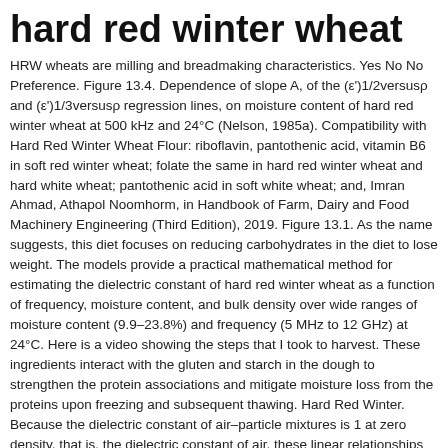hard red winter wheat
HRW wheats are milling and breadmaking characteristics. Yes No No Preference. Figure 13.4. Dependence of slope A, of the (ε')1/2versusρ and (ε')1/3versusρ regression lines, on moisture content of hard red winter wheat at 500 kHz and 24°C (Nelson, 1985a). Compatibility with Hard Red Winter Wheat Flour: riboflavin, pantothenic acid, vitamin B6 in soft red winter wheat; folate the same in hard red winter wheat and hard white wheat; pantothenic acid in soft white wheat; and, Imran Ahmad, Athapol Noomhorm, in Handbook of Farm, Dairy and Food Machinery Engineering (Third Edition), 2019. Figure 13.1. As the name suggests, this diet focuses on reducing carbohydrates in the diet to lose weight. The models provide a practical mathematical method for estimating the dielectric constant of hard red winter wheat as a function of frequency, moisture content, and bulk density over wide ranges of moisture content (9.9–23.8%) and frequency (5 MHz to 12 GHz) at 24°C. Here is a video showing the steps that I took to harvest. These ingredients interact with the gluten and starch in the dough to strengthen the protein associations and mitigate moisture loss from the proteins upon freezing and subsequent thawing. Hard Red Winter. Because the dielectric constant of air–particle mixtures is 1 at zero density, that is, the dielectric constant of air, these linear relationships may be written so